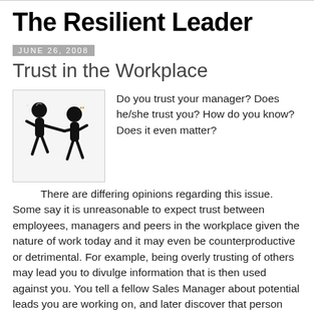The Resilient Leader
June 26, 2008
Trust in the Workplace
[Figure (illustration): Stick figure illustration of two black cartoon characters, one appearing to push or pull the other]
Do you trust your manager? Does he/she trust you? How do you know? Does it even matter?
There are differing opinions regarding this issue. Some say it is unreasonable to expect trust between employees, managers and peers in the workplace given the nature of work today and it may even be counterproductive or detrimental. For example, being overly trusting of others may lead you to divulge information that is then used against you. You tell a fellow Sales Manager about potential leads you are working on, and later discover that person following those leads and making the sale. We all have examples of people who have taken credit for our work after we...